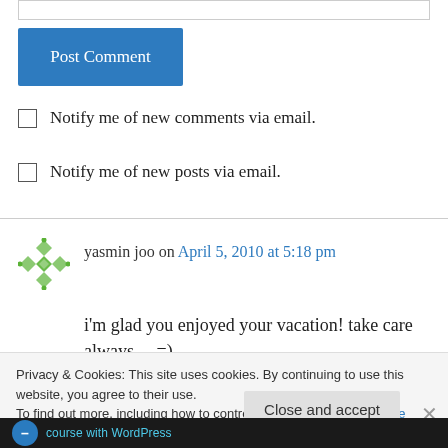[Figure (screenshot): Top portion of a comment form input box, partially visible at the top of the page]
[Figure (screenshot): Blue 'Post Comment' button]
Notify me of new comments via email.
Notify me of new posts via email.
yasmin joo on April 5, 2010 at 5:18 pm
i'm glad you enjoyed your vacation! take care always... =)
Privacy & Cookies: This site uses cookies. By continuing to use this website, you agree to their use.
To find out more, including how to control cookies, see here: Cookie Policy
[Figure (screenshot): Close and accept button and X close icon for cookie notice, plus WordPress course advertisement bar at bottom]